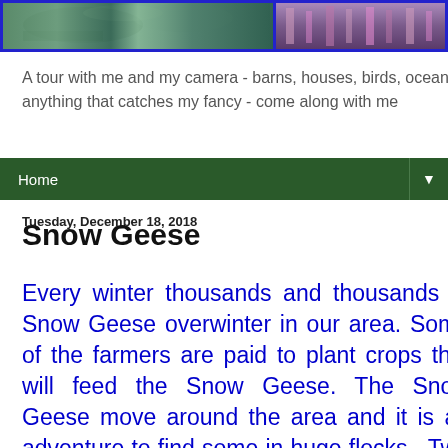[Figure (photo): Two bird/nature photographs side by side with blue border — left showing green foliage with a bird, right showing purple/pink plants]
A tour with me and my camera - barns, houses, birds, ocean - anything that catches my fancy - come along with me
Home ▼
Tuesday, December 18, 2018
Snow Geese
Every winter thousands and thousands of Snow Geese overwinter in our area. Some of the farmers are paid to plant crops that will feed the Snow Geese. The Snow Geese move around the area and it is an adventure to find some in huge flocks. Two weeks ago we hit the jackpot on a single flock that...